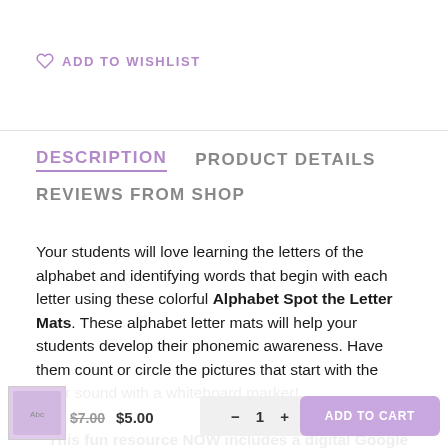ADD TO WISHLIST
DESCRIPTION   PRODUCT DETAILS   REVIEWS FROM SHOP
Your students will love learning the letters of the alphabet and identifying words that begin with each letter using these colorful Alphabet Spot the Letter Mats. These alphabet letter mats will help your students develop their phonemic awareness. Have them count or circle the pictures that start with the letter sound with a whiteboard marker!
**This fun resource NOW includes a digital Google Slides version for use in Google Classroom, as well as the printable posters and images to use in Seesaw!**
Comes with instructions for Google Classroom with Google